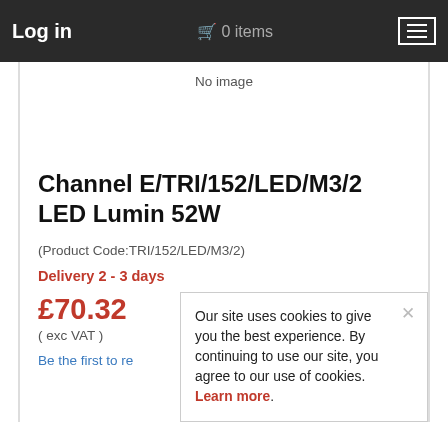Log in  🛒 0 items
[Figure (screenshot): No image placeholder area for product photo]
Channel E/TRI/152/LED/M3/2 LED Lumin 52W
(Product Code:TRI/152/LED/M3/2)
Delivery 2 - 3 days
£70.32
( exc VAT )
Be the first to re
Our site uses cookies to give you the best experience. By continuing to use our site, you agree to our use of cookies. Learn more.